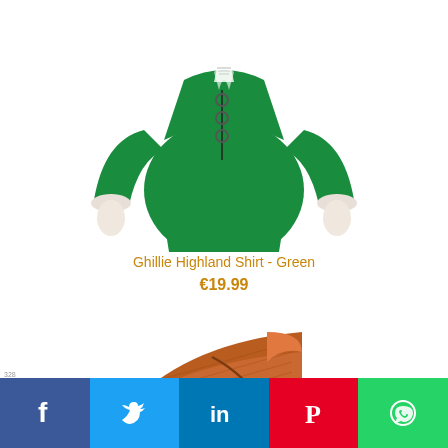[Figure (photo): Green Ghillie Highland Shirt displayed on a mannequin with lace-up front and long sleeves]
Ghillie Highland Shirt - Green
€19.99
[Figure (photo): Brown/rust colored folded fabric textile]
[Figure (infographic): Social media sharing buttons: Facebook, Twitter, LinkedIn, Pinterest, WhatsApp]